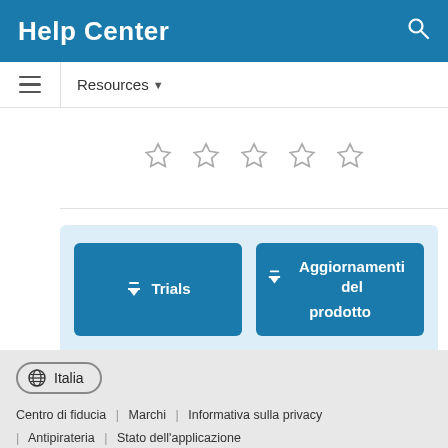Help Center
Resources ▼
[Figure (illustration): Five empty star rating icons in a row]
[Figure (infographic): Two download buttons: Trials and Aggiornamenti del prodotto]
Italia
Centro di fiducia | Marchi | Informativa sulla privacy | Antipirateria | Stato dell'applicazione
© 1994-2022 The MathWorks, Inc.